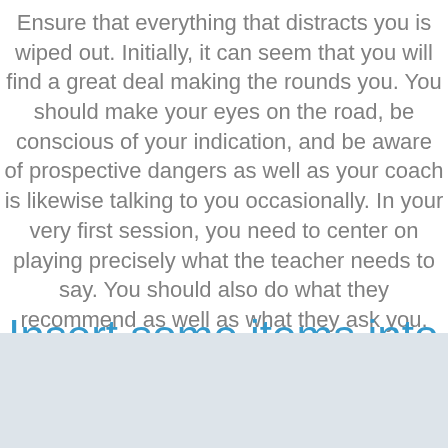Ensure that everything that distracts you is wiped out. Initially, it can seem that you will find a great deal making the rounds you. You should make your eyes on the road, be conscious of your indication, and be aware of prospective dangers as well as your coach is likewise talking to you occasionally. In your very first session, you need to center on playing precisely what the teacher needs to say. You should also do what they recommend as well as what they ask you.
Insert some items into the portfolio